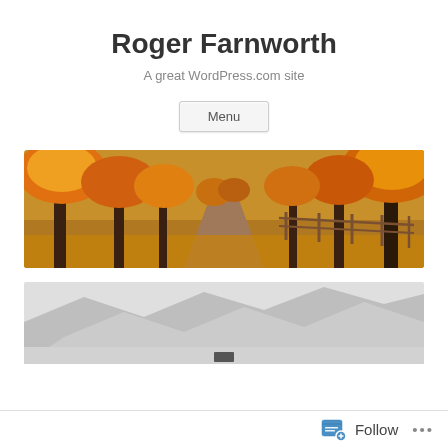Roger Farnworth
A great WordPress.com site
Menu
[Figure (photo): Autumn tree-lined road with orange and yellow fall foliage, a rural fence on the right side]
[Figure (photo): Black and white mountain landscape with peaks and valley]
Follow ...